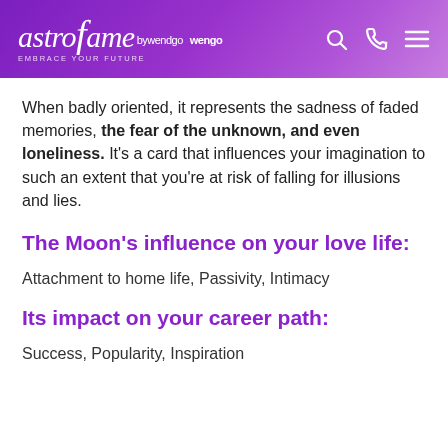astrofame by wengo — EMBRACE YOUR FUTURE
When badly oriented, it represents the sadness of faded memories, the fear of the unknown, and even loneliness. It's a card that influences your imagination to such an extent that you're at risk of falling for illusions and lies.
The Moon's influence on your love life:
Attachment to home life, Passivity, Intimacy
Its impact on your career path:
Success, Popularity, Inspiration